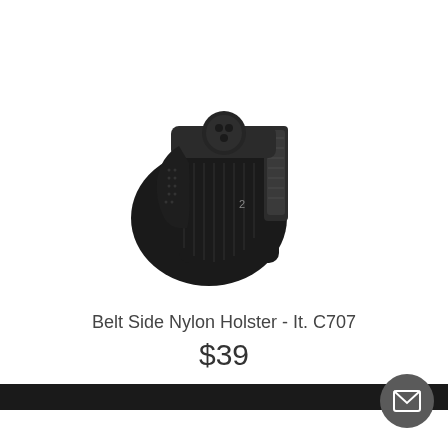[Figure (photo): A black nylon belt side holster with a revolver inserted, shown against a white background. The holster has a belt clip on the right side and holds a black revolver with textured grip.]
Belt Side Nylon Holster - It. C707
$39
★★★★★ (38)
[Figure (other): Dark navigation bar at the bottom with a mail/envelope icon button on the right side, and partial view of another product below.]